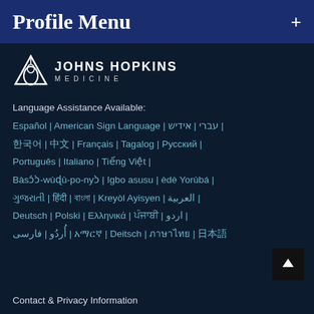Profile Menu
[Figure (logo): Johns Hopkins Medicine logo with dome icon and text JOHNS HOPKINS MEDICINE]
Language Assistance Available:
Español | American Sign Language | עברי | אידיש | [Korean] | [Chinese] | Français | Tagalog | Русский | Português | Italiano | Tiếng Việt | Bàsɔ́ɔ̀-wùɖù-po-nyɔ̀ | Igbo asusu | èdè Yorùbá | [Gujarati] | [Hindi] | [Bengali] | Kreyòl Ayisyen | العربية | Deutsch | Polski | Ελληνικά | [Punjabi] | [Urdu script] | أُردُو | فارسی | [Amharic] | Deitsch | [Thai] | [Japanese]
Contact & Privacy Information